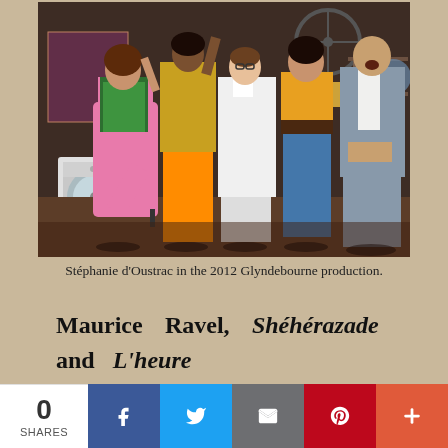[Figure (photo): Stage performance photo showing five performers on a cluttered set with a washing machine and various props. A woman in pink dress on the left, men in colorful costumes including orange pants, white coat, and a grey suit on the right. Appears to be an opera or theatrical production.]
Stéphanie d'Oustrac in the 2012 Glyndebourne production.
Maurice Ravel, Shéhérazade and L'heure espagnole